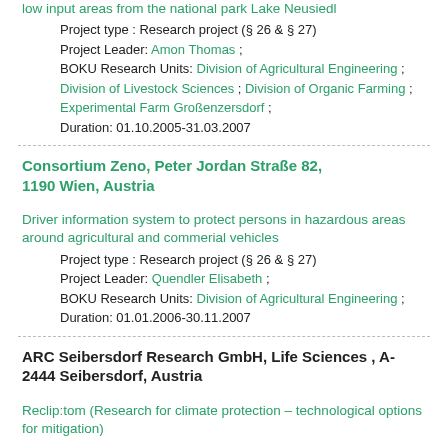low input areas from the national park Lake Neusiedl
Project type : Research project (§ 26 & § 27)
Project Leader: Amon Thomas ;
BOKU Research Units: Division of Agricultural Engineering ; Division of Livestock Sciences ; Division of Organic Farming ; Experimental Farm Großenzersdorf ;
Duration: 01.10.2005-31.03.2007
Consortium Zeno, Peter Jordan Straße 82, 1190 Wien, Austria
Driver information system to protect persons in hazardous areas around agricultural and commerial vehicles
Project type : Research project (§ 26 & § 27)
Project Leader: Quendler Elisabeth ;
BOKU Research Units: Division of Agricultural Engineering ;
Duration: 01.01.2006-30.11.2007
ARC Seibersdorf Research GmbH, Life Sciences , A-2444 Seibersdorf, Austria
Reclip:tom (Research for climate protection – technological options for mitigation)